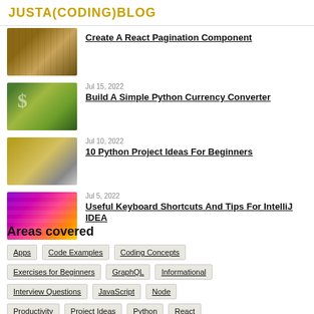JUSTA(CODING)BLOG
Create A React Pagination Component
Jul 15, 2022 — Build A Simple Python Currency Converter
Jul 10, 2022 — 10 Python Project Ideas For Beginners
Jul 5, 2022 — Useful Keyboard Shortcuts And Tips For IntelliJ IDEA
Areas covered
Apps
Code Examples
Coding Concepts
Exercises for Beginners
GraphQL
Informational
Interview Questions
JavaScript
Node
Productivity
Project Ideas
Python
React